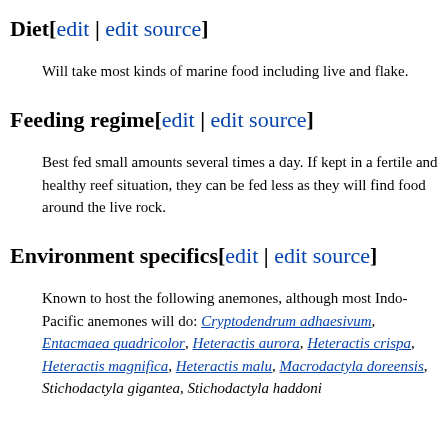Diet[edit | edit source]
Will take most kinds of marine food including live and flake.
Feeding regime[edit | edit source]
Best fed small amounts several times a day. If kept in a fertile and healthy reef situation, they can be fed less as they will find food around the live rock.
Environment specifics[edit | edit source]
Known to host the following anemones, although most Indo-Pacific anemones will do: Cryptodendrum adhaesivum, Entacmaea quadricolor, Heteractis aurora, Heteractis crispa, Heteractis magnifica, Heteractis malu, Macrodactyla doreensis, Stichodactyla gigantea, Stichodactyla haddoni